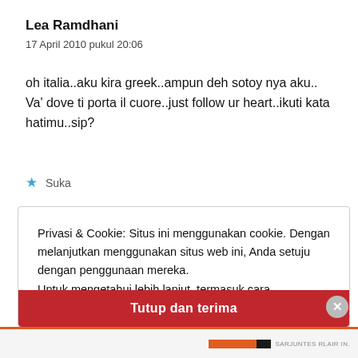Lea Ramdhani
17 April 2010 pukul 20:06
oh italia..aku kira greek..ampun deh sotoy nya aku.. Va’ dove ti porta il cuore..just follow ur heart..ikuti kata hatimu..sip?
★ Suka
Privasi & Cookie: Situs ini menggunakan cookie. Dengan melanjutkan menggunakan situs web ini, Anda setuju dengan penggunaan mereka. Untuk mengetahui lebih lanjut, termasuk cara mengontrol cookie, lihat di sini: Kebijakan Cookie
Tutup dan terima